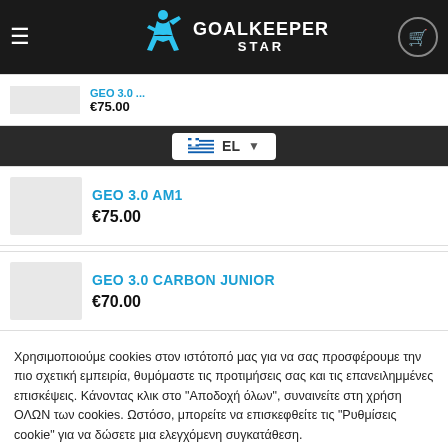Goalkeeper Star — GEO 3.0 ... €75.00
EL (language selector)
GEO 3.0 AM1 — €75.00
GEO 3.0 CARBON JUNIOR — €70.00
Χρησιμοποιούμε cookies στον ιστότοπό μας για να σας προσφέρουμε την πιο σχετική εμπειρία, θυμόμαστε τις προτιμήσεις σας και τις επανειλημμένες επισκέψεις. Κάνοντας κλικ στο "Αποδοχή όλων", συναινείτε στη χρήση ΟΛΩΝ των cookies. Ωστόσο, μπορείτε να επισκεφθείτε τις "Ρυθμίσεις cookie" για να δώσετε μια ελεγχόμενη συγκατάθεση.
Cookie Settings | Αποδοχή Όλων